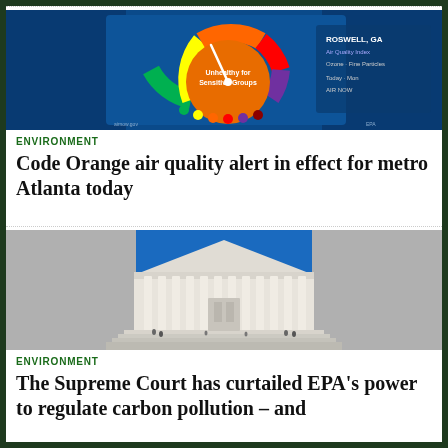[Figure (screenshot): Air quality gauge/dashboard showing Code Orange level for metro Atlanta. Dark blue background with semicircular gauge showing orange zone, with location information on the right side.]
ENVIRONMENT
Code Orange air quality alert in effect for metro Atlanta today
[Figure (photo): Photograph of the United States Supreme Court building facade showing white marble columns under a clear blue sky, with people visible on the steps.]
ENVIRONMENT
The Supreme Court has curtailed EPA's power to regulate carbon pollution – and